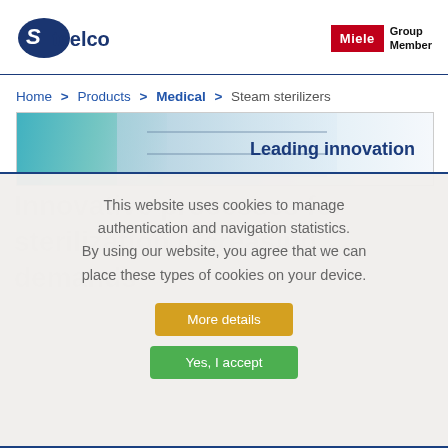[Figure (logo): Steelco logo — stylized blue S with company name]
[Figure (logo): Miele Group Member badge — red Miele box with Group Member text]
Home > Products > Medical > Steam sterilizers
[Figure (photo): Banner image showing sterilization equipment with text 'Leading innovation']
This website uses cookies to manage authentication and navigation statistics. By using our website, you agree that we can place these types of cookies on your device.
More details
Yes, I accept